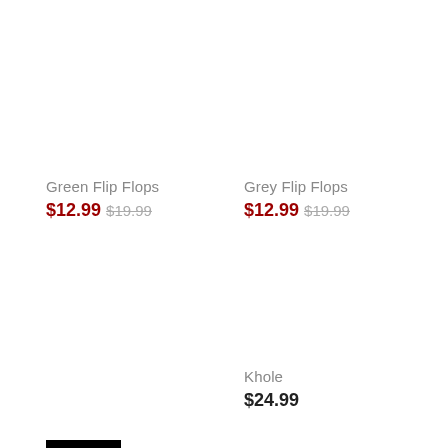Green Flip Flops
$12.99 $19.99
[Figure (other): Black SALE badge/button]
Grey Flip Flops
$12.99 $19.99
Khole
$24.99